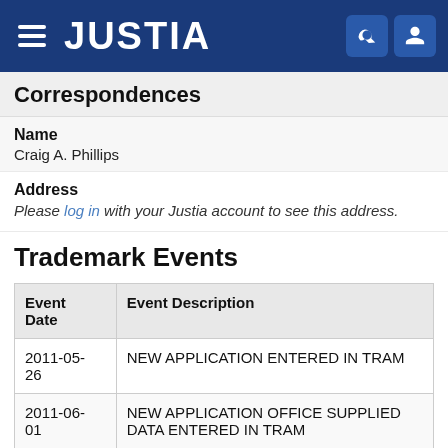JUSTIA
Correspondences
Name
Craig A. Phillips
Address
Please log in with your Justia account to see this address.
Trademark Events
| Event Date | Event Description |
| --- | --- |
| 2011-05-26 | NEW APPLICATION ENTERED IN TRAM |
| 2011-06-01 | NEW APPLICATION OFFICE SUPPLIED DATA ENTERED IN TRAM |